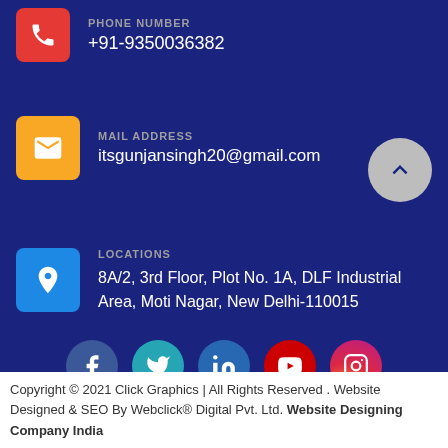PHONE NUMBER
+91-9350036382
MAIL ADDRESS
itsgunjansingh20@gmail.com
LOCATIONS
8A/2, 3rd Floor, Plot No. 1A, DLF Industrial Area, Moti Nagar, New Delhi-110015
[Figure (infographic): Social media icons row: Facebook, Twitter, LinkedIn, YouTube, Instagram circles]
Copyright © 2021 Click Graphics | All Rights Reserved . Website Designed & SEO By Webclick® Digital Pvt. Ltd. Website Designing Company India